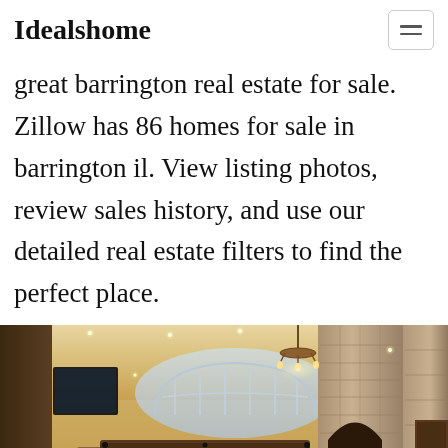Idealshome
great barrington real estate for sale. Zillow has 86 homes for sale in barrington il. View listing photos, review sales history, and use our detailed real estate filters to find the perfect place.
[Figure (photo): Interior photo of a luxury home with a game room featuring a billiard/pool table, stone fireplace pillars, vaulted ceiling with recessed lighting, a chandelier, arched windows, and a TV mounted on the left wall.]